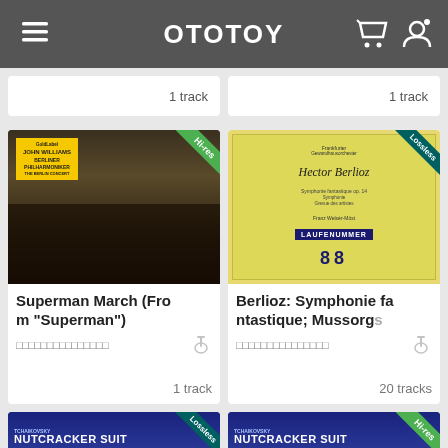OTOTOY
1 track
1 track
[Figure (photo): Album cover for John Williams / Berliner Philharmoniker - The Berlin Concert, with Hi-res badge]
Superman March (From "Superman")
1 track
[Figure (photo): Album cover for Berlioz Symphonie fantastique, yellow Deutsche Grammophon cover, with Lossless badge]
Berlioz: Symphonie fantastique; Mussorg
20 tracks
[Figure (photo): Tchaikovsky Nutcracker Suite album cover (dark blue) with Lossless badge, partially visible]
[Figure (photo): Tchaikovsky Nutcracker Suite album cover (dark blue) with Hi-res badge, partially visible]